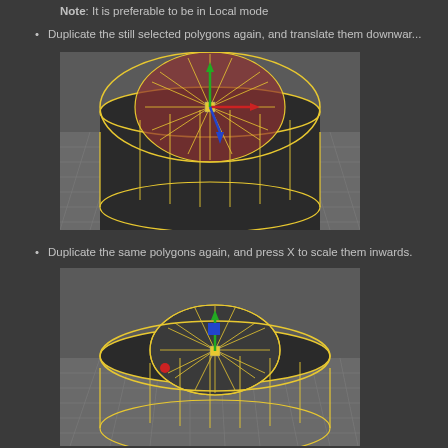Note: It is preferable to be in Local mode
Duplicate the still selected polygons again, and translate them downwar...
[Figure (screenshot): 3D viewport showing a cylindrical mesh with top polygons selected (shown in red/pink highlight), with XYZ transform gizmo (red, green, blue arrows) visible at center, yellow wireframe edges on dark gray geometry, grid floor visible]
Duplicate the same polygons again, and press X to scale them inwards.
[Figure (screenshot): 3D viewport showing the same cylindrical mesh from a slightly different angle, top polygons scaled inward, yellow wireframe on dark gray geometry, XYZ transform gizmo visible, grid floor visible]